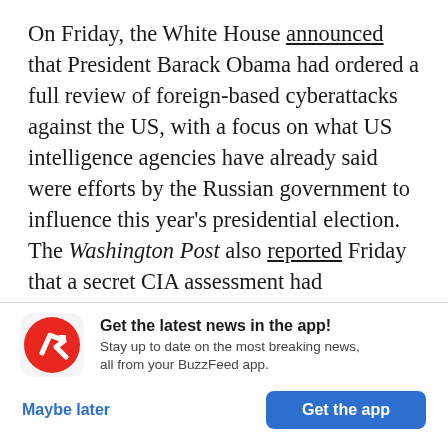On Friday, the White House announced that President Barack Obama had ordered a full review of foreign-based cyberattacks against the US, with a focus on what US intelligence agencies have already said were efforts by the Russian government to influence this year's presidential election. The Washington Post also reported Friday that a secret CIA assessment had concluded that Russia intervened in the 2016 election to help Donald Trump win the presidency, rather than merely to
[Figure (logo): BuzzFeed app promotion banner with red circular BuzzFeed logo (white upward-right arrow), headline 'Get the latest news in the app!', subtext 'Stay up to date on the most breaking news, all from your BuzzFeed app.', 'Maybe later' text link, and 'Get the app' blue button.]